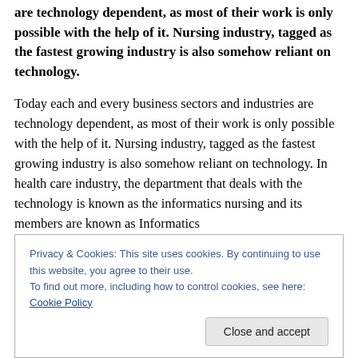are technology dependent, as most of their work is only possible with the help of it. Nursing industry, tagged as the fastest growing industry is also somehow reliant on technology.
Today each and every business sectors and industries are technology dependent, as most of their work is only possible with the help of it. Nursing industry, tagged as the fastest growing industry is also somehow reliant on technology. In health care industry, the department that deals with the technology is known as the informatics nursing and its members are known as Informatics
Privacy & Cookies: This site uses cookies. By continuing to use this website, you agree to their use.
To find out more, including how to control cookies, see here: Cookie Policy